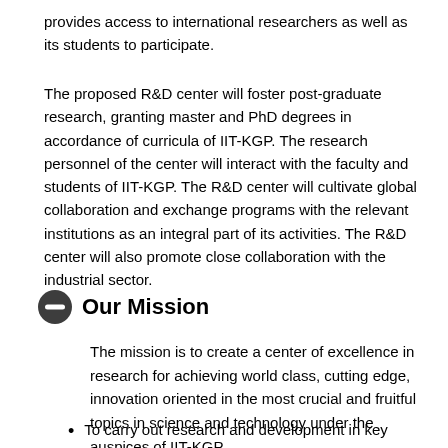provides access to international researchers as well as its students to participate.
The proposed R&D center will foster post-graduate research, granting master and PhD degrees in accordance of curricula of IIT-KGP. The research personnel of the center will interact with the faculty and students of IIT-KGP. The R&D center will cultivate global collaboration and exchange programs with the relevant institutions as an integral part of its activities. The R&D center will also promote close collaboration with the industrial sector.
Our Mission
The mission is to create a center of excellence in research for achieving world class, cutting edge, innovation oriented in the most crucial and fruitful topics in science and technology under the auspices of IIT-KGP.
To carry out research and development in key